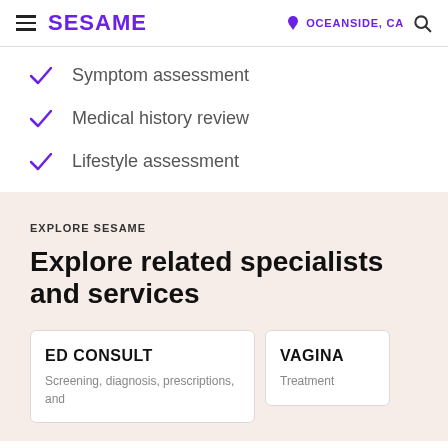SESAME  OCEANSIDE, CA
Symptom assessment
Medical history review
Lifestyle assessment
EXPLORE SESAME
Explore related specialists and services
ED CONSULT
Screening, diagnosis, prescriptions, and
VAGINA
Treatment